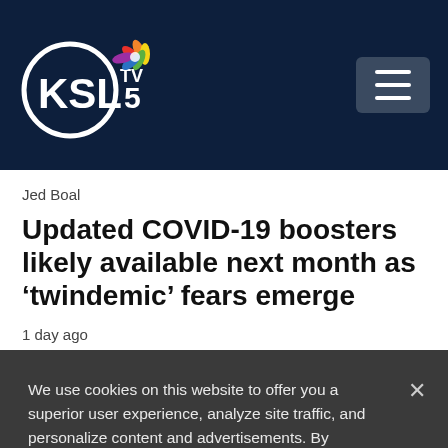KSL TV 5
Jed Boal
Updated COVID-19 boosters likely available next month as ‘twindemic’ fears emerge
1 day ago
We use cookies on this website to offer you a superior user experience, analyze site traffic, and personalize content and advertisements. By continuing to use our site, you consent to our use of cookies. Please visit our Privacy Policy for more information.
Accept Cookies